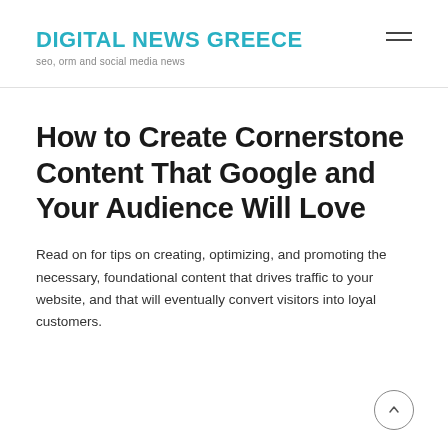DIGITAL NEWS GREECE
seo, orm and social media news
How to Create Cornerstone Content That Google and Your Audience Will Love
Read on for tips on creating, optimizing, and promoting the necessary, foundational content that drives traffic to your website, and that will eventually convert visitors into loyal customers.